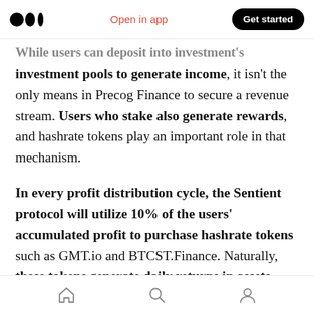Medium logo | Open in app | Get started
...while users can deposit into investment's investment pools to generate income, it isn't the only means in Precog Finance to secure a revenue stream. Users who stake also generate rewards, and hashrate tokens play an important role in that mechanism.

In every profit distribution cycle, the Sentient protocol will utilize 10% of the users' accumulated profit to purchase hashrate tokens such as GMT.io and BTCST.Finance. Naturally, these tokens generate daily returns in assets such as WBTC (Wrapped Bitcoin),
Home | Search | Profile